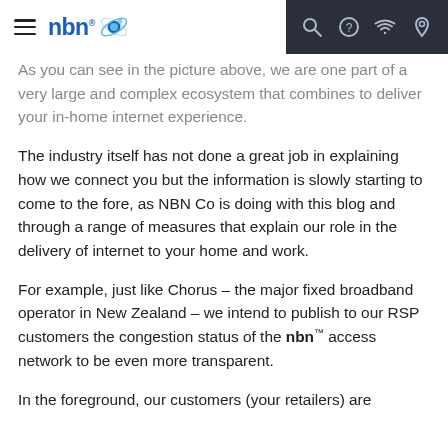nbn® [logo] | search | help | wifi | location icons
As you can see in the picture above, we are one part of a very large and complex ecosystem that combines to deliver your in-home internet experience.
The industry itself has not done a great job in explaining how we connect you but the information is slowly starting to come to the fore, as NBN Co is doing with this blog and through a range of measures that explain our role in the delivery of internet to your home and work.
For example, just like Chorus – the major fixed broadband operator in New Zealand – we intend to publish to our RSP customers the congestion status of the nbn™ access network to be even more transparent.
In the foreground, our customers (your retailers) are